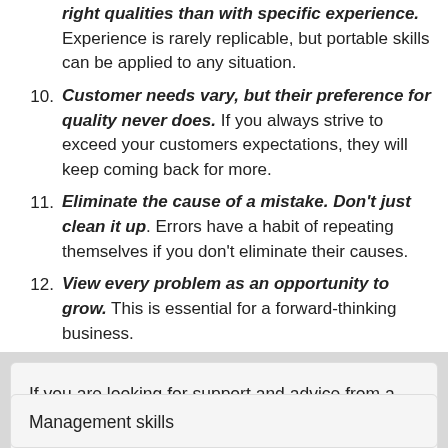right qualities than with specific experience. Experience is rarely replicable, but portable skills can be applied to any situation.
10. Customer needs vary, but their preference for quality never does. If you always strive to exceed your customers expectations, they will keep coming back for more.
11. Eliminate the cause of a mistake. Don't just clean it up. Errors have a habit of repeating themselves if you don't eliminate their causes.
12. View every problem as an opportunity to grow. This is essential for a forward-thinking business.
If you are looking for support and advice from a team of professional accountants and business advisers, contact Walter Dawson.
Management skills